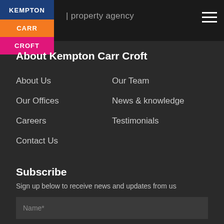Kempton Carr Croft | property agency
About Kempton Carr Croft
About Us
Our Team
Our Offices
News & knowledge
Careers
Testimonials
Contact Us
Subscribe
Sign up below to receive news and updates from us
Name*
Email address*
Quarterly newsletter  Business & team news